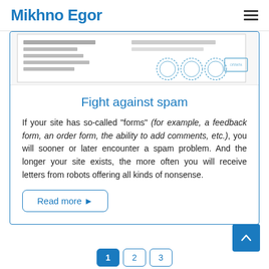Mikhno Egor
[Figure (screenshot): A scanned document with Russian text, official stamps/seals visible at the bottom right, shown partially at top of content card.]
Fight against spam
If your site has so-called “forms” (for example, a feedback form, an order form, the ability to add comments, etc.), you will sooner or later encounter a spam problem. And the longer your site exists, the more often you will receive letters from robots offering all kinds of nonsense.
Read more ►
1 2 3